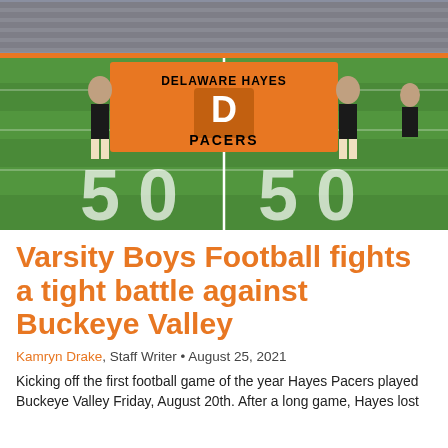[Figure (photo): Cheerleaders holding a large orange Delaware Hayes Pacers banner on a football field at the 50-yard line, with stadium bleachers and crowd in the background.]
Varsity Boys Football fights a tight battle against Buckeye Valley
Kamryn Drake, Staff Writer • August 25, 2021
Kicking off the first football game of the year Hayes Pacers played Buckeye Valley Friday, August 20th. After a long game, Hayes lost